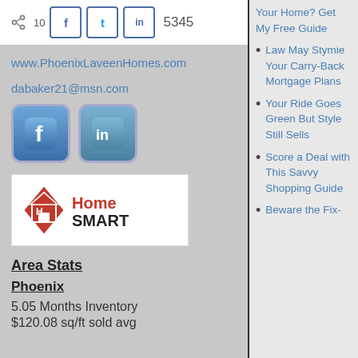10 | [social share icons] | 5345
www.PhoenixLaveenHomes.com
dabaker21@msn.com
[Figure (logo): Facebook and LinkedIn rounded square icon buttons]
[Figure (logo): HomeSmart real estate logo with red diamond and house icon]
Area Stats
Phoenix
5.05 Months Inventory
$120.08 sq/ft sold avg
Your Home? Get My Free Guide
Law May Stymie Your Carry-Back Mortgage Plans
Your Ride Goes Green But Style Still Sells
Score a Deal with This Savvy Shopping Guide
Beware the Fix-